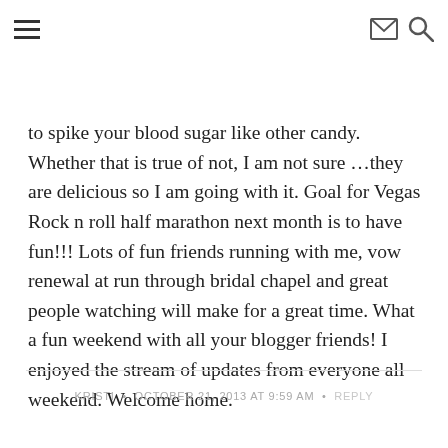[hamburger menu] [email icon] [search icon]
to spike your blood sugar like other candy. Whether that is true of not, I am not sure …they are delicious so I am going with it. Goal for Vegas Rock n roll half marathon next month is to have fun!!! Lots of fun friends running with me, vow renewal at run through bridal chapel and great people watching will make for a great time. What a fun weekend with all your blogger friends! I enjoyed the stream of updates from everyone all weekend. Welcome home.
KRISTI • OCTOBER 21, 2013 AT 9:59 AM • REPLY